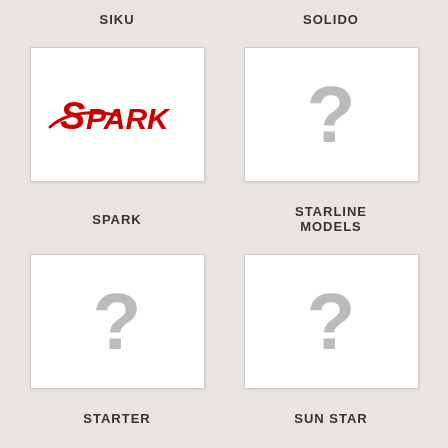SIKU
SOLIDO
[Figure (logo): Spark model cars logo - red italic text reading SPARK with a swoosh]
[Figure (other): Placeholder image with large grey question mark]
SPARK
STARLINE MODELS
[Figure (other): Placeholder image with large grey question mark]
[Figure (other): Placeholder image with large grey question mark]
STARTER
SUN STAR